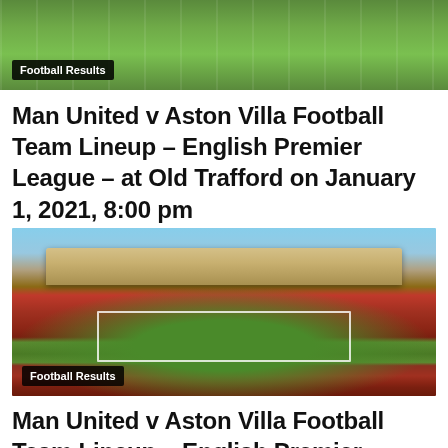[Figure (photo): Top cropped photo of green football field/pitch grass]
Football Results
Man United v Aston Villa Football Team Lineup – English Premier League – at Old Trafford on January 1, 2021, 8:00 pm
Football Blog – January 1, 2021
[Figure (photo): Aerial panoramic view of a large American football stadium filled with red-seated crowd and green playing field, taken from end zone looking toward upper deck stands]
Football Results
Man United v Aston Villa Football Team Lineup – English Premier League – at Old Trafford on January 1, 2021, 8:00 pm